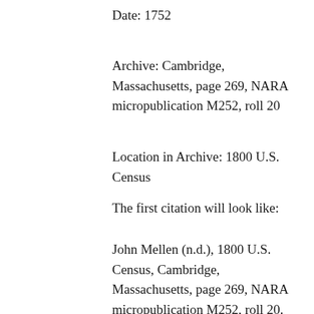Date: 1752
Archive: Cambridge, Massachusetts, page 269, NARA micropublication M252, roll 20
Location in Archive: 1800 U.S. Census
The first citation will look like:
John Mellen (n.d.), 1800 U.S. Census, Cambridge, Massachusetts, page 269, NARA micropublication M252, roll 20.
The subsequent citations will be simply the same, of course, but...